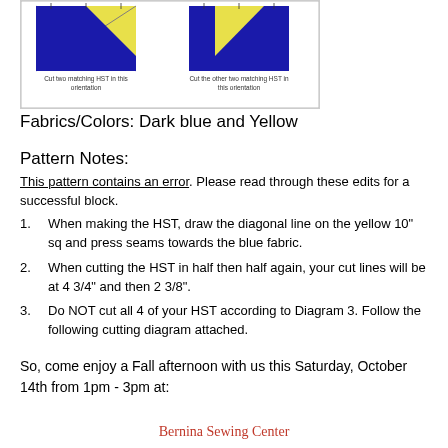[Figure (illustration): Diagram showing two HST (half-square triangle) blocks on blue squares with yellow triangles. Left block has caption 'Cut two matching HST in this orientation'. Right block has caption 'Cut the other two matching HST in this orientation'.]
Fabrics/Colors: Dark blue and Yellow
Pattern Notes:
This pattern contains an error. Please read through these edits for a successful block.
When making the HST, draw the diagonal line on the yellow 10" sq and press seams towards the blue fabric.
When cutting the HST in half then half again, your cut lines will be at 4 3/4" and then 2 3/8".
Do NOT cut all 4 of your HST according to Diagram 3. Follow the following cutting diagram attached.
So, come enjoy a Fall afternoon with us this Saturday, October 14th from 1pm - 3pm at:
Bernina Sewing Center